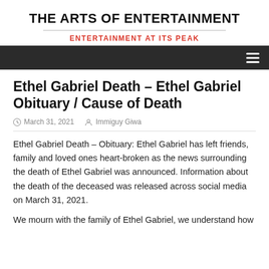THE ARTS OF ENTERTAINMENT
ENTERTAINMENT AT ITS PEAK
Ethel Gabriel Death – Ethel Gabriel Obituary / Cause of Death
March 31, 2021   Immiguy Giwa
Ethel Gabriel Death – Obituary: Ethel Gabriel has left friends, family and loved ones heart-broken as the news surrounding the death of Ethel Gabriel was announced. Information about the death of the deceased was released across social media on March 31, 2021.
We mourn with the family of Ethel Gabriel, we understand how